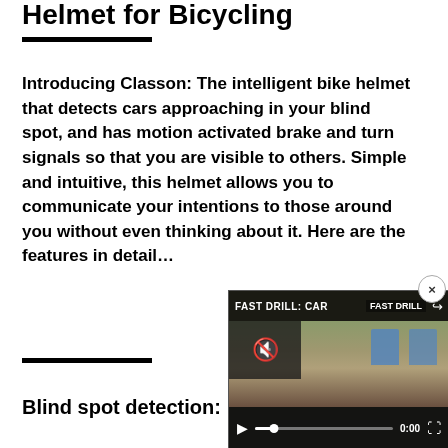Helmet for Bicycling
Introducing Classon: The intelligent bike helmet that detects cars approaching in your blind spot, and has motion activated brake and turn signals so that you are visible to others. Simple and intuitive, this helmet allows you to communicate your intentions to those around you without even thinking about it. Here are the features in detail…
[Figure (screenshot): Embedded video overlay showing 'FAST DRILL: CAR...' with playback controls, mute icon, play button, progress bar at 0:00, and fullscreen button. Background shows an outdoor shooting range scene with blue targets.]
Blind spot detection: